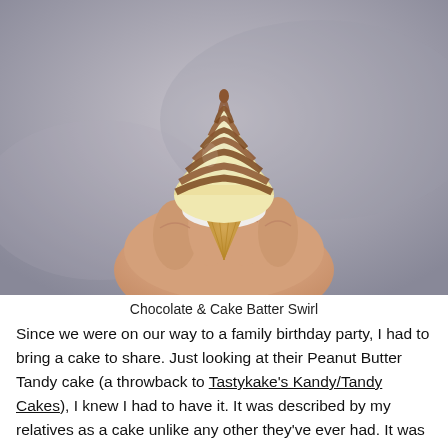[Figure (photo): A hand holding a soft-serve ice cream cone with a swirl of chocolate and cake batter (vanilla) flavors, photographed close-up against a blurred gray background.]
Chocolate & Cake Batter Swirl
Since we were on our way to a family birthday party, I had to bring a cake to share. Just looking at their Peanut Butter Tandy cake (a throwback to Tastykake's Kandy/Tandy Cakes), I knew I had to have it. It was described by my relatives as a cake unlike any other they've ever had. It was easily one of the best cakes I